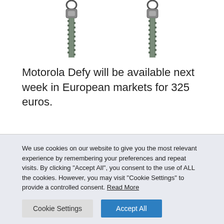[Figure (photo): Two zipper pulls shown from above against white background]
Motorola Defy will be available next week in European markets for 325 euros.
We use cookies on our website to give you the most relevant experience by remembering your preferences and repeat visits. By clicking "Accept All", you consent to the use of ALL the cookies. However, you may visit "Cookie Settings" to provide a controlled consent. Read More